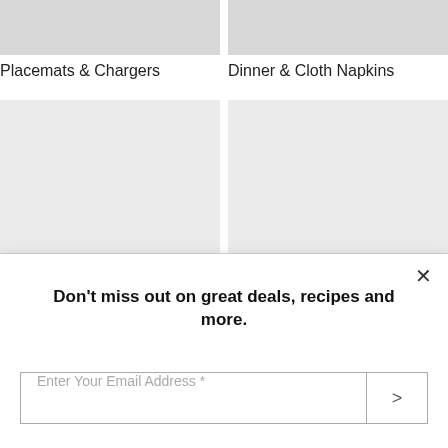[Figure (photo): Partial view of placemat and charger product with dark plate and fork visible]
[Figure (photo): Partial view of dinner napkins and cloth napkins product with white fabric and dark items]
Placemats & Chargers
Dinner & Cloth Napkins
[Figure (photo): Light gray placeholder image tile bottom left]
[Figure (photo): Light gray placeholder image tile bottom right]
Don't miss out on great deals, recipes and more.
Enter Your Email Address *